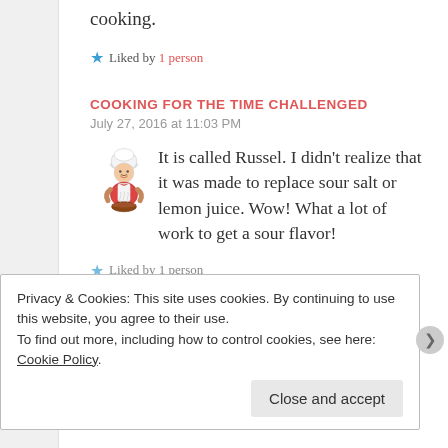cooking.
★ Liked by 1 person
COOKING FOR THE TIME CHALLENGED
July 27, 2016 at 11:03 PM
It is called Russel. I didn't realize that it was made to replace sour salt or lemon juice. Wow! What a lot of work to get a sour flavor!
★ Liked by 1 person
Privacy & Cookies: This site uses cookies. By continuing to use this website, you agree to their use.
To find out more, including how to control cookies, see here: Cookie Policy